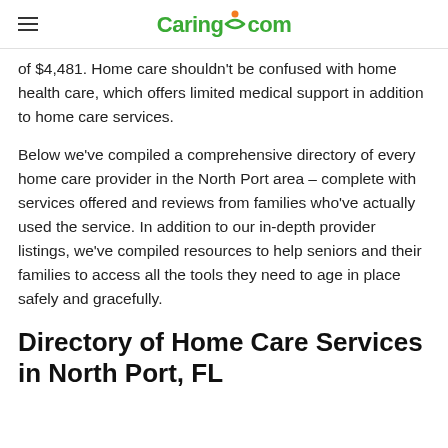Caring.com
of $4,481. Home care shouldn’t be confused with home health care, which offers limited medical support in addition to home care services.
Below we’ve compiled a comprehensive directory of every home care provider in the North Port area – complete with services offered and reviews from families who’ve actually used the service. In addition to our in-depth provider listings, we’ve compiled resources to help seniors and their families to access all the tools they need to age in place safely and gracefully.
Directory of Home Care Services in North Port, FL